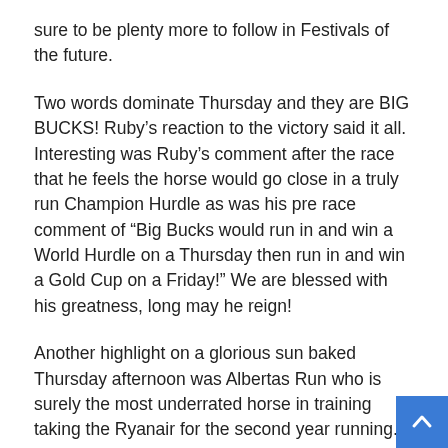sure to be plenty more to follow in Festivals of the future.
Two words dominate Thursday and they are BIG BUCKS! Ruby's reaction to the victory said it all. Interesting was Ruby's comment after the race that he feels the horse would go close in a truly run Champion Hurdle as was his pre race comment of “Big Bucks would run in and win a World Hurdle on a Thursday then run in and win a Gold Cup on a Friday!” We are blessed with his greatness, long may he reign!
Another highlight on a glorious sun baked Thursday afternoon was Albertas Run who is surely the most underrated horse in training taking the Ryanair for the second year running. With good ground and a bit of spring sunshine on his back he is a superstar! Now a winner of 4 Grade One’s, 3 of those at the Festival in 2008, 2010 and now 2011. Final word on Thursday goes to Holmwood Legend and Keiran Burke in the Byrne